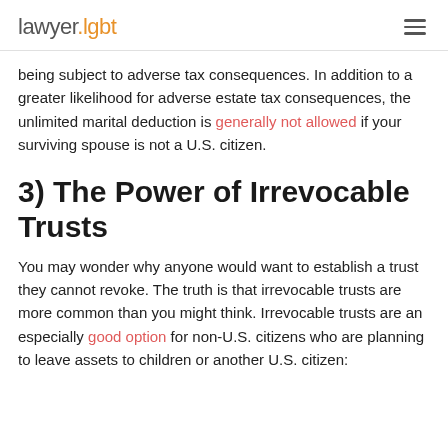lawyer.lgbt
being subject to adverse tax consequences. In addition to a greater likelihood for adverse estate tax consequences, the unlimited marital deduction is generally not allowed if your surviving spouse is not a U.S. citizen.
3) The Power of Irrevocable Trusts
You may wonder why anyone would want to establish a trust they cannot revoke. The truth is that irrevocable trusts are more common than you might think. Irrevocable trusts are an especially good option for non-U.S. citizens who are planning to leave assets to children or another U.S. citizen: